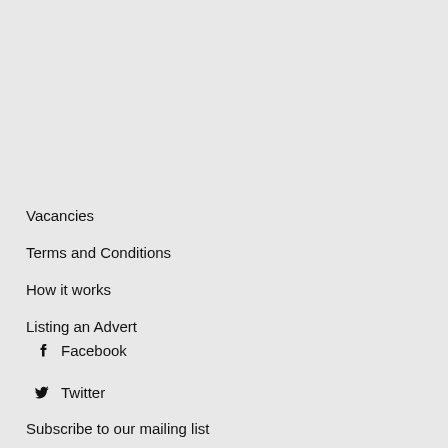Vacancies
Terms and Conditions
How it works
Listing an Advert
Facebook
Twitter
Subscribe to our mailing list